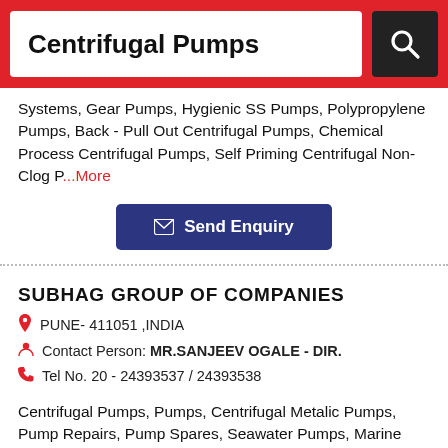Centrifugal Pumps
Systems, Gear Pumps, Hygienic SS Pumps, Polypropylene Pumps, Back - Pull Out Centrifugal Pumps, Chemical Process Centrifugal Pumps, Self Priming Centrifugal Non-Clog P...More
Send Enquiry
SUBHAG GROUP OF COMPANIES
PUNE- 411051 ,INDIA
Contact Person: MR.SANJEEV OGALE - DIR.
Tel No. 20 - 24393537 / 24393538
Centrifugal Pumps, Pumps, Centrifugal Metalic Pumps, Pump Repairs, Pump Spares, Seawater Pumps, Marine Pumps ...More
Send Enquiry